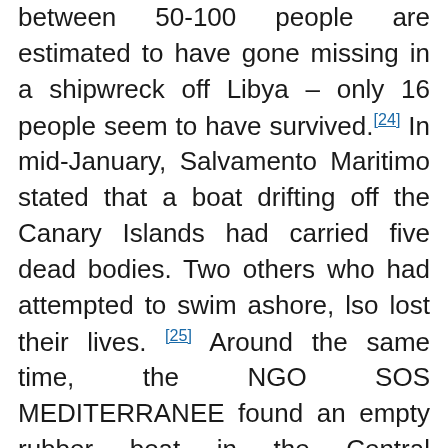between 50-100 people are estimated to have gone missing in a shipwreck off Libya – only 16 people seem to have survived.[24] In mid-January, Salvamento Maritimo stated that a boat drifting off the Canary Islands had carried five dead bodies. Two others who had attempted to swim ashore, lso lost their lives. [25] Around the same time, the NGO SOS MEDITERRANEE found an empty rubber boat in the Central Mediterranean – nobody knows what has happened to its passengers. On the 20th of January, two dead persons were retrieved in a rescue operation carried out by Salvamento Maritimo 10 nautical miles west of the Alboran Island in the Western Mediterranean.[26]  Proactiva Open Arms reported on the 22nd of January of three deaths, including one three-months old baby. [27]  Three dead travellers were also discovered...